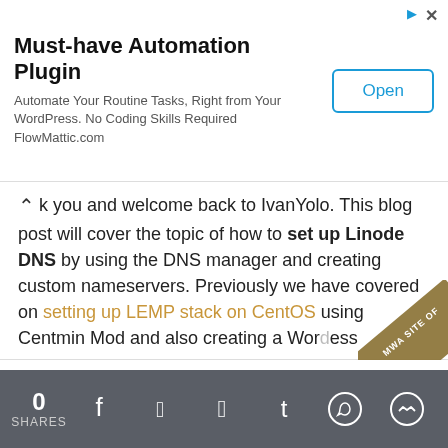[Figure (screenshot): Advertisement banner: Must-have Automation Plugin. Automate Your Routine Tasks, Right from Your WordPress. No Coding Skills Required FlowMattic.com. Open button on right.]
...k you and welcome back to IvanYolo. This blog post will cover the topic of how to set up Linode DNS by using the DNS manager and creating custom nameservers. Previously we have covered on setting up LEMP stack on CentOS using Centmin Mod and also creating a WordPress
[Figure (illustration): MWA SITE OF badge diagonal overlay in gold/brown on top right corner]
We use cookies on our website to give you the most relevant experience by remembering your preferences and repeat visits. By clicking “Accept All”, you consent to the use of ALL the cookies.
Accept All
0 SHARES [social icons: Facebook, Twitter, Pinterest, Tumblr, WhatsApp, Messenger]